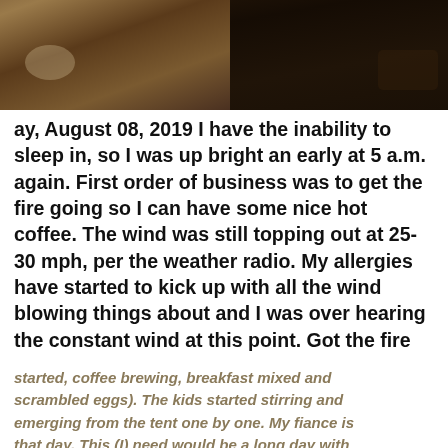[Figure (photo): Two photos side by side at top: left shows dirt/ground with stones, right shows dark rocky surface]
Thursday, August 08, 2019 I have the inability to sleep in, so I was up bright an early at 5 a.m. again. First order of business was to get the fire going so I can have some nice hot coffee. The wind was still topping out at 25-30 mph, per the weather radio. My allergies have started to kick up with all the wind blowing things about and I was over hearing the constant wind at this point. Got the fire
started, coffee brewing, breakfast mixed and scrambled eggs). The kids started stirring and emerging from the tent one by one. My fiance is that day. This (I) need would be a long day with the wind constantly blowing that means we wo the water. The day was slow to pass, we played
We use cookies to enhance your experience for analytics, and to support 3rd party content and advertising providers. If you continue using this website, you agree to our privacy and legal agreement.
Ok